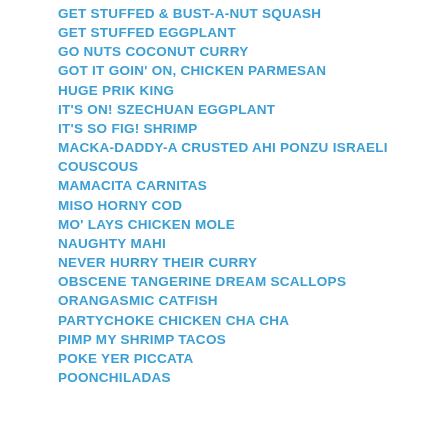GET STUFFED & BUST-A-NUT SQUASH
GET STUFFED EGGPLANT
GO NUTS COCONUT CURRY
GOT IT GOIN' ON, CHICKEN PARMESAN
HUGE PRIK KING
IT'S ON! SZECHUAN EGGPLANT
IT'S SO FIG! SHRIMP
MACKA-DADDY-A CRUSTED AHI PONZU ISRAELI COUSCOUS
MAMACITA CARNITAS
MISO HORNY COD
MO' LAYS CHICKEN MOLE
NAUGHTY MAHI
NEVER HURRY THEIR CURRY
OBSCENE TANGERINE DREAM SCALLOPS
ORANGASMIC CATFISH
PARTYCHOKE CHICKEN CHA CHA
PIMP MY SHRIMP TACOS
POKE YER PICCATA
POONCHILADAS